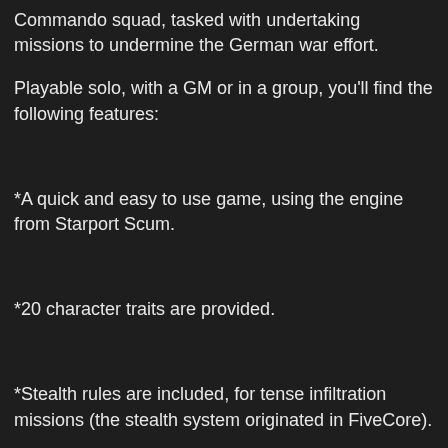Commando squad, tasked with undertaking missions to undermine the German war effort.
Playable solo, with a GM or in a group, you'll find the following features:
*A quick and easy to use game, using the engine from Starport Scum.
*20 character traits are provided.
*Stealth rules are included, for tense infiltration missions (the stealth system originated in FiveCore).